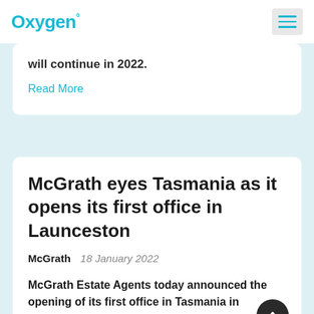Oxygen°
will continue in 2022.
Read More
McGrath eyes Tasmania as it opens its first office in Launceston
McGrath   18 January 2022
McGrath Estate Agents today announced the opening of its first office in Tasmania in flourishing Launceston, as part of the group's